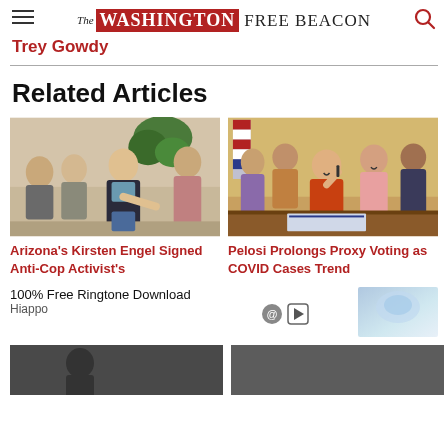The Washington Free Beacon
Trey Gowdy
Related Articles
[Figure (photo): People gathered outdoors, woman in black jacket speaking and gesturing]
Arizona's Kirsten Engel Signed Anti-Cop Activist's
[Figure (photo): Nancy Pelosi seated at desk signing document, surrounded by smiling colleagues including women in colorful attire]
Pelosi Prolongs Proxy Voting as COVID Cases Trend
100% Free Ringtone Download
Hiappo
[Figure (photo): Partial ad image with light blue/purple gradient]
[Figure (photo): Partial bottom article image left]
[Figure (photo): Partial bottom article image right]